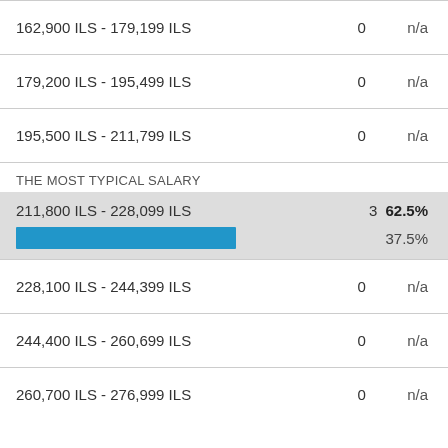| Salary Range | Count | Percentage |
| --- | --- | --- |
| 162,900 ILS - 179,199 ILS | 0 | n/a |
| 179,200 ILS - 195,499 ILS | 0 | n/a |
| 195,500 ILS - 211,799 ILS | 0 | n/a |
| THE MOST TYPICAL SALARY |  |  |
| 211,800 ILS - 228,099 ILS | 3 | 62.5% |
| 228,100 ILS - 244,399 ILS | 0 | n/a |
| 244,400 ILS - 260,699 ILS | 0 | n/a |
| 260,700 ILS - 276,999 ILS | 0 | n/a |